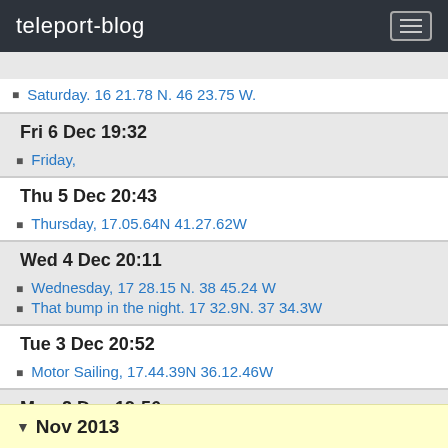teleport-blog
Saturday. 16 21.78 N. 46 23.75 W.
Fri 6 Dec 19:32
Friday,
Thu 5 Dec 20:43
Thursday, 17.05.64N 41.27.62W
Wed 4 Dec 20:11
Wednesday, 17 28.15 N. 38 45.24 W
That bump in the night. 17 32.9N. 37 34.3W
Tue 3 Dec 20:52
Motor Sailing, 17.44.39N 36.12.46W
Mon 2 Dec 19:56
Day 8 Monday
Sun 1 Dec 20:39
Sunday. 18 36.5 N. 31 06.3W
Nov 2013